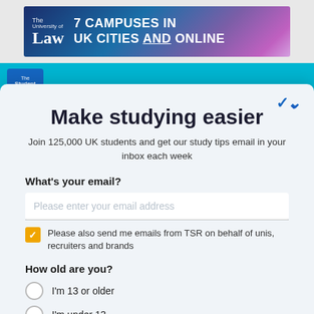[Figure (screenshot): University of Law banner advertisement: '7 CAMPUSES IN UK CITIES AND ONLINE' with blue/purple gradient background]
[Figure (screenshot): The Student Room navigation bar in teal/cyan color]
Make studying easier
Join 125,000 UK students and get our study tips email in your inbox each week
What's your email?
Please enter your email address
Please also send me emails from TSR on behalf of unis, recruiters and brands
How old are you?
I'm 13 or older
I'm under 13